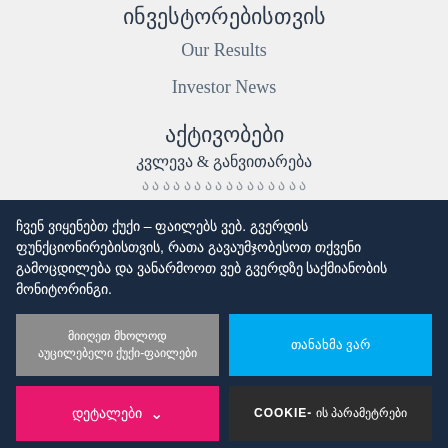ინვესტორებისთვის
Our Results
Investor News
აქტივობები
კვლევა & განვითარება
ჩვენ ვიყენებთ ქუქი – ფაილებს ვებ. გვერდის ფუნქციონირებისთვის, რათა გავაუმჯობესოთ თქვენი გამოცდილება და ვანარმოოთ ვებ გვერდზე საქმიანობის მონიტორინგი.
მიიღეთ მხოლოდ აუცილებელი ქუქი-ფაილები
თანახმა ვარ
დეტალები
COOKIE- ის პარამეტრები